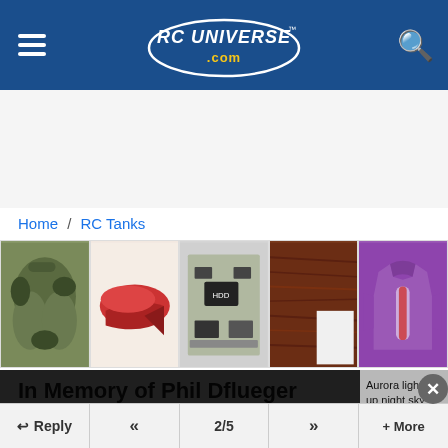RC Universe .com
[Figure (screenshot): Advertisement banner area (white/gray background)]
Home / RC Tanks
[Figure (photo): Row of 5 product thumbnails: camo jacket, red wedge shoe, circuit board/HDD, dark wood frame corner, purple sweatshirt]
In Memory of Phil Dflueger
[Figure (screenshot): Media player overlay: 'The media could not be loaded, either because the server or network failed or because the format is not supported.' with a dark video thumbnail on left and Aurora lights news caption on right]
Reply  <<  2/5  >>  + More